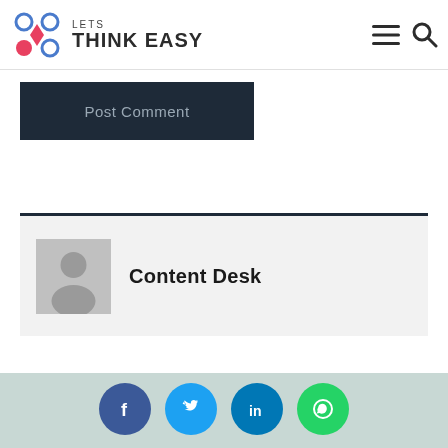LETS THINK EASY
Post Comment
Content Desk
[Figure (logo): Social share icons: Facebook, Twitter, LinkedIn, WhatsApp]